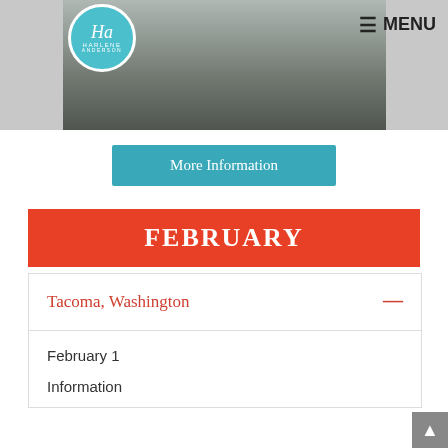[Figure (photo): Group of people sitting and standing in a casual indoor setting, website header photo with Harlene Anderson logo circle and MENU button]
More Information
FEBRUARY
Tacoma, Washington —
February 1
Information